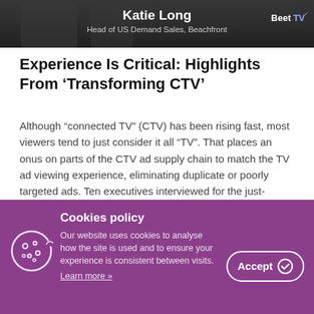[Figure (photo): Banner image showing Katie Long, Head of US Demand Sales at Beachfront, with BeetTV logo in top right corner]
Experience Is Critical: Highlights From ‘Transforming CTV’
Although “connected TV” (CTV) has been rising fast, most viewers tend to just consider it all “TV”. That places an onus on parts of the CTV ad supply chain to match the TV ad viewing experience, eliminating duplicate or poorly targeted ads. Ten executives interviewed for the just-wrapped Transforming CTV: Delivering a Better Ad Experience
[Figure (photo): Partial image strip visible beneath article content]
Cookies policy
Our website uses cookies to analyse how the site is used and to ensure your experience is consistent between visits.
Learn more »